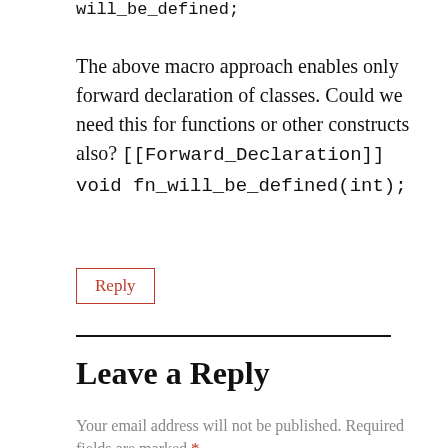will_be_defined;
The above macro approach enables only forward declaration of classes. Could we need this for functions or other constructs also? [[Forward_Declaration]] void fn_will_be_defined(int);
Reply
Leave a Reply
Your email address will not be published. Required fields are marked *